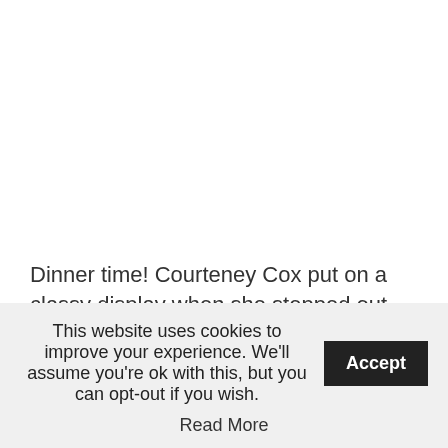[Figure (photo): White/blank image area at the top of the page (photo content not visible)]
Dinner time! Courteney Cox put on a classy display when she stepped out for dinner in Santa Monica on Wednesday night. The 57-year-old Friends star showed off her svelte body in a pair of skinny black jeans and a black button-
This website uses cookies to improve your experience. We'll assume you're ok with this, but you can opt-out if you wish.
Accept
Read More